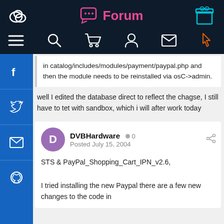Forum
in catalog/includes/modules/payment/paypal.php and then the module needs to be reinstalled via osC->admin.
well I edited the database direct to reflect the chagse, I still have to tet with sandbox, which i will after work today
DVBHardware  0
Posted July 15, 2004
STS & PayPal_Shopping_Cart_IPN_v2.6,
I tried installing the new Paypal there are a few new changes to the code in